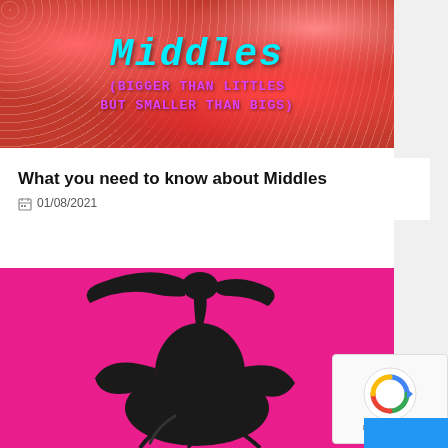[Figure (illustration): Red glitter background with 'Middles' title in cyan retro font and subtitle '(BIGGER THAN LITTLES BUT SMALLER THAN BIGS)' in pink/purple font]
What you need to know about Middles
01/08/2021
[Figure (illustration): Hot pink background with black silhouette illustration of a flamingo-like figure with flowing hair]